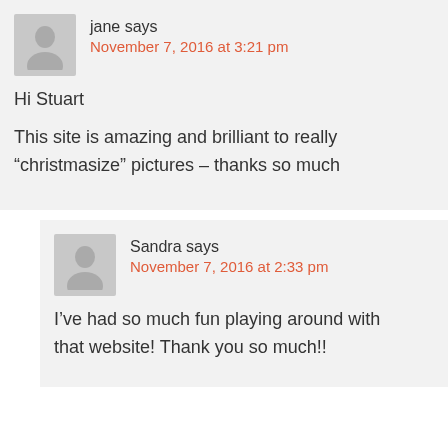jane says
November 7, 2016 at 3:21 pm

Hi Stuart

This site is amazing and brilliant to really “christmasize” pictures – thanks so much
Sandra says
November 7, 2016 at 2:33 pm

I’ve had so much fun playing around with that website! Thank you so much!!